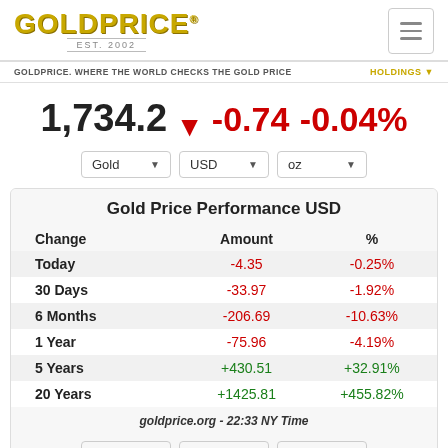GOLDPRICE® EST. 2002
GOLDPRICE. WHERE THE WORLD CHECKS THE GOLD PRICE
1,734.2 ▼ -0.74 -0.04%
| Change | Amount | % |
| --- | --- | --- |
| Today | -4.35 | -0.25% |
| 30 Days | -33.97 | -1.92% |
| 6 Months | -206.69 | -10.63% |
| 1 Year | -75.96 | -4.19% |
| 5 Years | +430.51 | +32.91% |
| 20 Years | +1425.81 | +455.82% |
goldprice.org - 22:33 NY Time